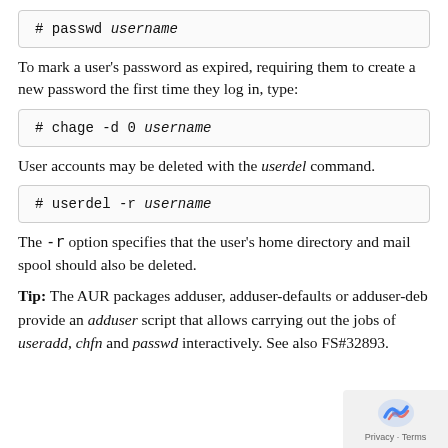# passwd username
To mark a user's password as expired, requiring them to create a new password the first time they log in, type:
# chage -d 0 username
User accounts may be deleted with the userdel command.
# userdel -r username
The -r option specifies that the user's home directory and mail spool should also be deleted.
Tip: The AUR packages adduser, adduser-defaults or adduser-deb provide an adduser script that allows carrying out the jobs of useradd, chfn and passwd interactively. See also FS#32893.